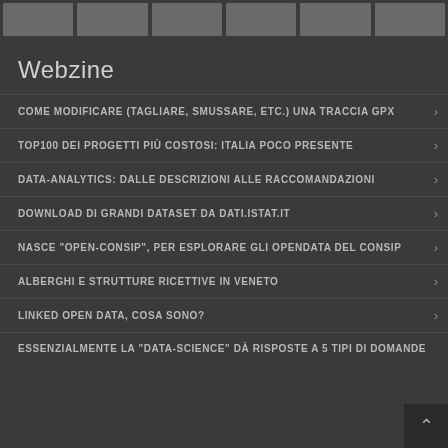[Figure (other): Top navigation bar with 6 gray rectangular boxes in a row]
Webzine
COME MODIFICARE (TAGLIARE, SMUSSARE, ETC.) UNA TRACCIA GPX
TOP100 DEI PROGETTI PIÙ COSTOSI: ITALIA POCO PRESENTE
DATA-ANALYTICS: DALLE DESCRIZIONI ALLE RACCOMANDAZIONI
DOWNLOAD DI GRANDI DATASET DA DATI.ISTAT.IT
NASCE "OPEN-CONSIP", PER ESPLORARE GLI OPENDATA DEL CONSIP
ALBERGHI E STRUTTURE RICETTIVE IN VENETO
LINKED OPEN DATA, COSA SONO?
ESSENZIALMENTE LA "DATA-SCIENCE" DÀ RISPOSTE A 5 TIPI DI DOMANDE